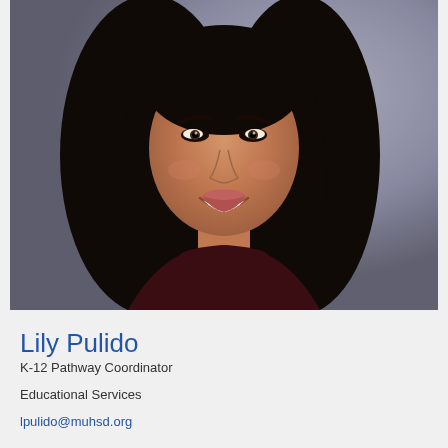[Figure (photo): Professional headshot of Lily Pulido, a woman with long dark hair, smiling, wearing a dark maroon top, against a gray background.]
Lily Pulido
K-12 Pathway Coordinator
Educational Services
lpulido@muhsd.org